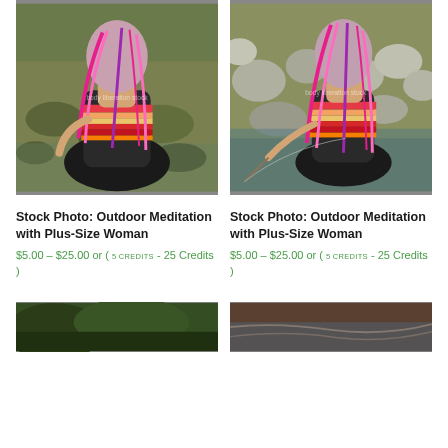[Figure (photo): Plus-size woman with colorful pink/purple hair seen from behind, sitting cross-legged in a shallow rocky river doing meditation, wearing a striped multicolor top and black pants. Watermark: body liberation stock]
Stock Photo: Outdoor Meditation with Plus-Size Woman
$5.00 – $25.00 or ( 5 CREDITS - 25 Credits )
[Figure (photo): Plus-size woman with colorful pink/purple hair seen from behind, kneeling at edge of rocky river, holding a stick/rod, wearing a striped multicolor top and black pants. Watermark: body liberation stock]
Stock Photo: Outdoor Meditation with Plus-Size Woman
$5.00 – $25.00 or ( 5 CREDITS - 25 Credits )
[Figure (photo): Partial view of outdoor photo, dark green foliage visible at bottom left]
[Figure (photo): Partial view of outdoor water/river photo at bottom right]